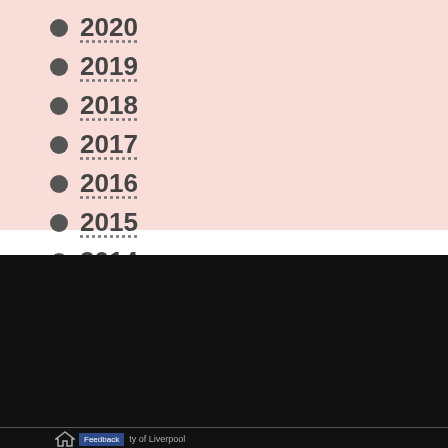2020
2019
2018
2017
2016
2015
2014
2013
[Figure (logo): THE ORIGINAL REDBRICK logo in white text on black background with rectangular borders]
ty of Liverpool